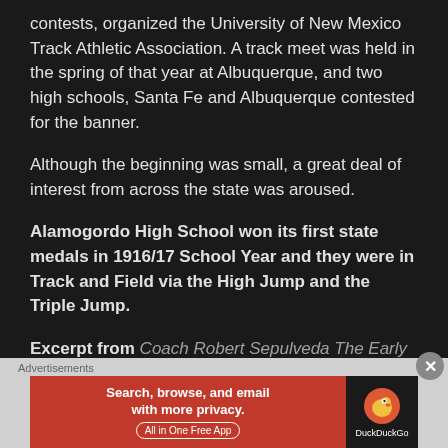contests, organized the University of New Mexico Track Athletic Association. A track meet was held in the spring of that year at Albuquerque, and two high schools, Santa Fe and Albuquerque contested for the banner.
Although the beginning was small, a great deal of interest from across the state was aroused.
Alamogordo High School won its first state medals in 1916/17 School Year and they were in Track and Field via the High Jump and the Triple Jump.
Excerpt from Coach Robert Sepulveda The Early Days
[Figure (infographic): DuckDuckGo advertisement banner: orange section says 'Search, browse, and email with more privacy. All in One Free App', dark section shows DuckDuckGo logo duck icon and brand name.]